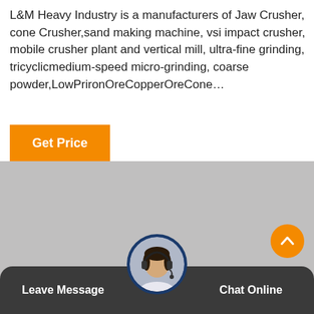L&M Heavy Industry is a manufacturers of Jaw Crusher, cone Crusher,sand making machine, vsi impact crusher, mobile crusher plant and vertical mill, ultra-fine grinding, tricyclicmedium-speed micro-grinding, coarse powder,LowPrironOreCopperOreCone…
Get Price
[Figure (photo): Large gray placeholder image area]
[Figure (photo): Orange circular scroll-to-top button with upward chevron]
[Figure (photo): Circular avatar of a customer service representative wearing a headset, set against a dark blue circular border]
Leave Message   Chat Online